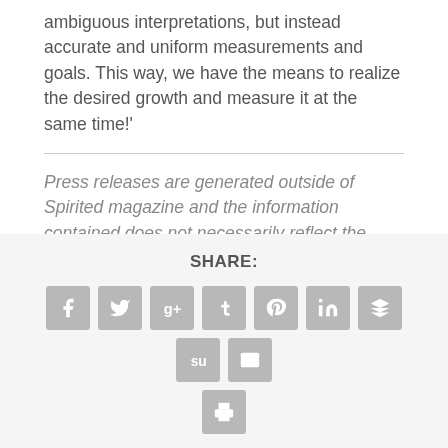ambiguous interpretations, but instead accurate and uniform measurements and goals. This way, we have the means to realize the desired growth and measure it at the same time!'
Press releases are generated outside of Spirited magazine and the information contained does not necessarily reflect the opinion of Spirited or its parent company, Sonoma Media Investments.
SHARE:
[Figure (infographic): Row of social media sharing icon buttons: Facebook, Twitter, Google+, Tumblr, Pinterest, LinkedIn, Buffer, StumbleUpon, Email, and a Print button on the second row.]